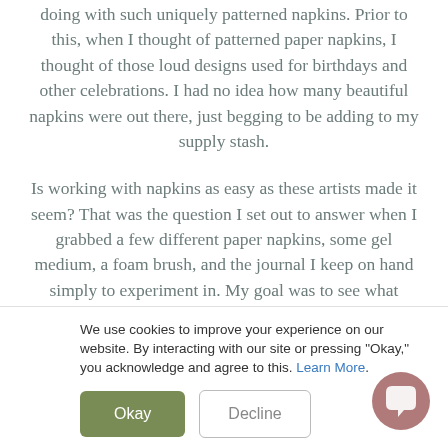doing with such uniquely patterned napkins. Prior to this, when I thought of patterned paper napkins, I thought of those loud designs used for birthdays and other celebrations. I had no idea how many beautiful napkins were out there, just begging to be adding to my supply stash.
Is working with napkins as easy as these artists made it seem? That was the question I set out to answer when I grabbed a few different paper napkins, some gel medium, a foam brush, and the journal I keep on hand simply to experiment in. My goal was to see what happened when I used the paper napkins in different ways. On each page, I combined the top layer of a napkin (the printed part) with something else, including another napkin. For each one, I first laid down a layer of gel medium to adhere to base to the page, then I
We use cookies to improve your experience on our website. By interacting with our site or pressing "Okay," you acknowledge and agree to this. Learn More.